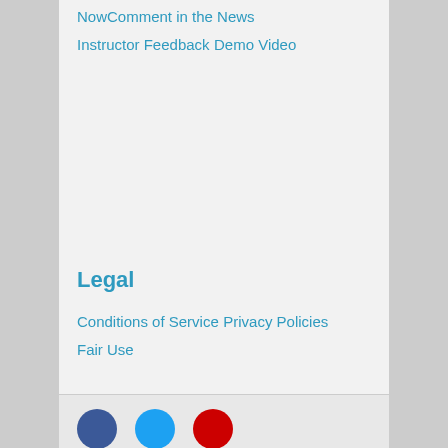NowComment in the News
Instructor Feedback
Demo Video
Legal
Conditions of Service
Privacy Policies
Fair Use
[Figure (illustration): Social media icon circles: Facebook (blue), Twitter (light blue), YouTube (red)]